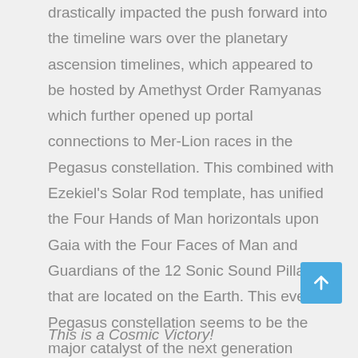drastically impacted the push forward into the timeline wars over the planetary ascension timelines, which appeared to be hosted by Amethyst Order Ramyanas which further opened up portal connections to Mer-Lion races in the Pegasus constellation. This combined with Ezekiel’s Solar Rod template, has unified the Four Hands of Man horizontals upon Gaia with the Four Faces of Man and Guardians of the 12 Sonic Sound Pillars that are located on the Earth. This event in Pegasus constellation seems to be the major catalyst of the next generation communications with the Cosmic White Diamond Elohei Mother and the Cosmic Diamond Elohei Father.
This is a Cosmic Victory!